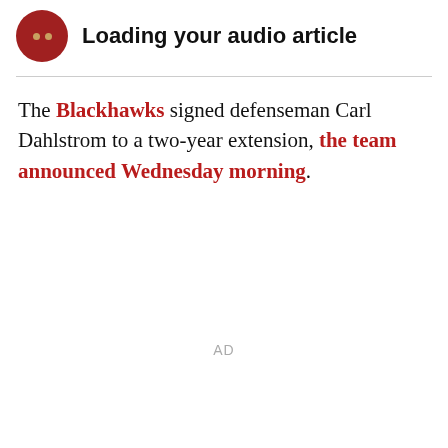[Figure (other): Audio article player widget with dark red circular icon showing two gold dots, and bold text reading 'Loading your audio article']
The Blackhawks signed defenseman Carl Dahlstrom to a two-year extension, the team announced Wednesday morning.
AD